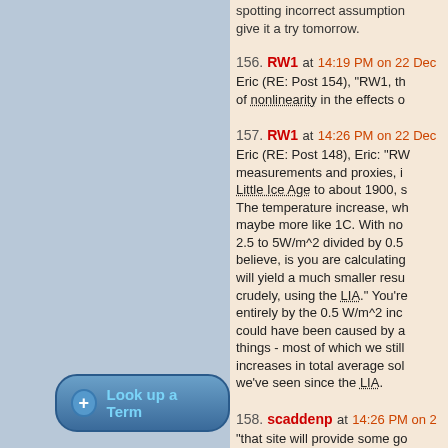spotting incorrect assumptions... give it a try tomorrow.
156. RW1 at 14:19 PM on 22 Dec — Eric (RE: Post 154), "RW1, th... of nonlinearity in the effects o...
157. RW1 at 14:26 PM on 22 Dec — Eric (RE: Post 148), Eric: "RW... measurements and proxies, i... Little Ice Age to about 1900, s... The temperature increase, wh... maybe more like 1C. With no... 2.5 to 5W/m^2 divided by 0.5... believe, is you are calculating... will yield a much smaller resu... crudely, using the LIA." You're... entirely by the 0.5 W/m^2 inc... could have been caused by a... things - most of which we still... increases in total average sol... we've seen since the LIA.
158. scaddenp at 14:26 PM on 2... "that site will provide some go... math" Indeed. Starting with th... atmosphere captures 3.6 W/r... 280ppm to 560ppm. Of this,
Look up a Term